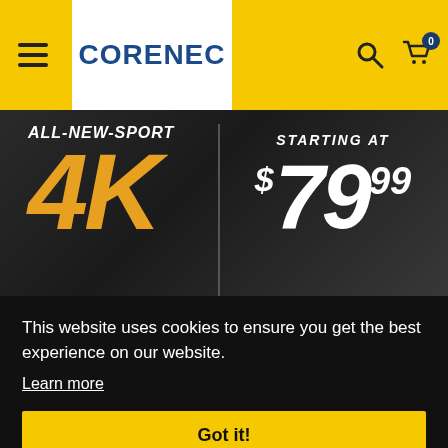CORENEC
[Figure (screenshot): Hero banner for ALL-NEW-SPORT 4K product, dark gradient background with orange 4K text and white price text showing starting at $79.99]
This website uses cookies to ensure you get the best experience on our website.
Learn more
Got it!